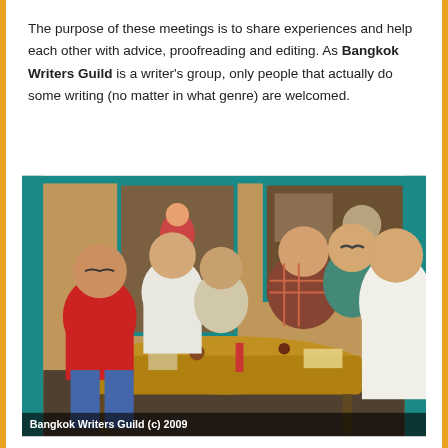The purpose of these meetings is to share experiences and help each other with advice, proofreading and editing. As Bangkok Writers Guild is a writer's group, only people that actually do some writing (no matter in what genre) are welcomed.
[Figure (photo): Group of people (Bangkok Writers Guild members) seated around a table in a restaurant with teal-framed walls and wooden decor. Photo taken in 2009.]
Bangkok Writers Guild (c) 2009